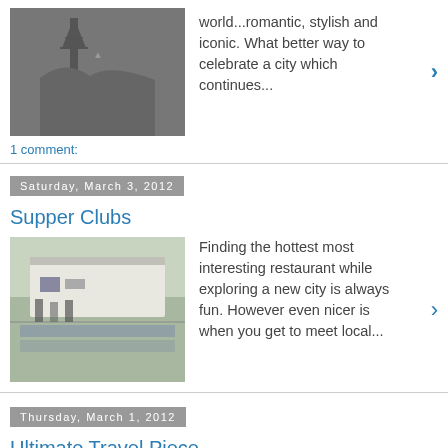[Figure (photo): Black and white photo of high heel shoe with Eiffel Tower in background]
world...romantic, stylish and iconic. What better way to celebrate a city which continues...
1 comment:
Saturday, March 3, 2012
Supper Clubs
[Figure (photo): Outdoor dining scene with people at long tables in front of a white building]
Finding the hottest most interesting restaurant while exploring a new city is always fun. However even nicer is when you get to meet local...
Thursday, March 1, 2012
Ultimate Travel Piece
[Figure (photo): Close up of a grey hooded garment or cloak]
2012 Paris Fashion Week is always inspiring. Sometimes it is hard to find a practical side to some of the collections. When I saw this pie...